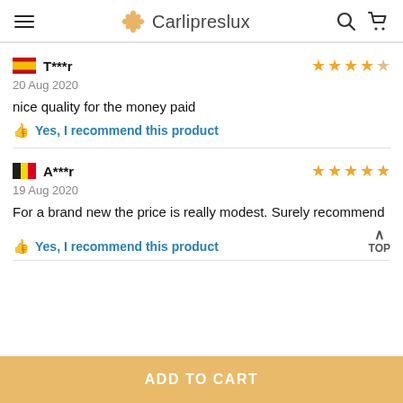Carlipreslux
T***r  20 Aug 2020  nice quality for the money paid  Yes, I recommend this product  (4 stars)
A***r  19 Aug 2020  For a brand new the price is really modest. Surely recommend  Yes, I recommend this product  (5 stars)
ADD TO CART